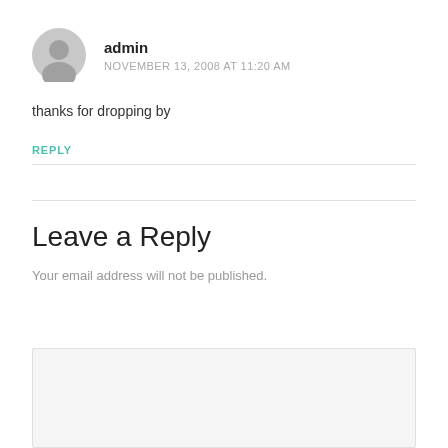[Figure (illustration): Gray default user avatar icon — silhouette of a person in a circle]
admin
NOVEMBER 13, 2008 AT 11:20 AM
thanks for dropping by
REPLY
Leave a Reply
Your email address will not be published.
[Figure (other): Empty light gray text input area / comment box]